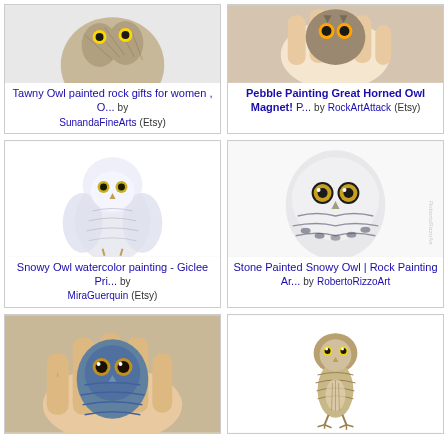[Figure (photo): Tawny Owl painted rock - top portion of rock visible on white background]
Tawny Owl painted rock gifts for women , O... by SunandaFineArts (Etsy)
[Figure (photo): Pebble Painting Great Horned Owl Magnet held in hand]
Pebble Painting Great Horned Owl Magnet! P... by RockArtAttack (Etsy)
[Figure (illustration): Snowy Owl watercolor painting on white background]
Snowy Owl watercolor painting - Giclee Pri... by MiraGuerquin (Etsy)
[Figure (illustration): Stone Painted Snowy Owl rock painting artwork]
Stone Painted Snowy Owl | Rock Painting Ar... by RobertoRizzoArt
[Figure (photo): Owl painted rock held in palm of hand]
[Figure (illustration): Small owl illustration on white background]